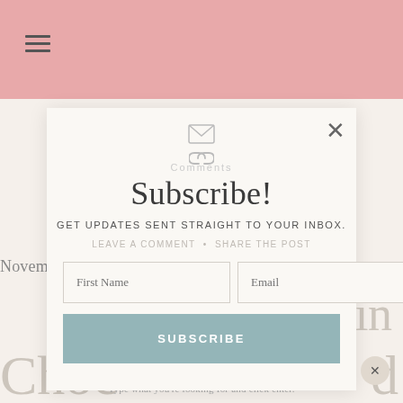Subscribe!
GET UPDATES SENT STRAIGHT TO YOUR INBOX.
LEAVE A COMMENT  •  SHARE THE POST
First Name
Email
SUBSCRIBE
November 10, 2019
Recipe: Pumpkin
Choc
Looking for something?
Type what you're looking for and click enter.